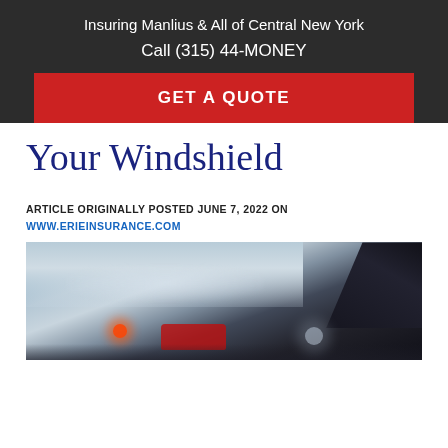Insuring Manlius & All of Central New York
Call (315) 44-MONEY
GET A QUOTE
Your Windshield
ARTICLE ORIGINALLY POSTED JUNE 7, 2022 ON WWW.ERIEINSURANCE.COM
[Figure (photo): View from inside a car through a wet windshield showing blurry traffic with red car and brake lights visible, dark rearview mirror in upper right]